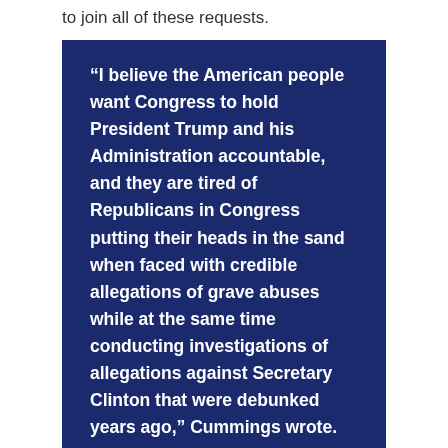to join all of these requests.
“I believe the American people want Congress to hold President Trump and his Administration accountable, and they are tired of Republicans in Congress putting their heads in the sand when faced with credible allegations of grave abuses while at the same time conducting investigations of allegations against Secretary Clinton that were debunked years ago,” Cummings wrote.